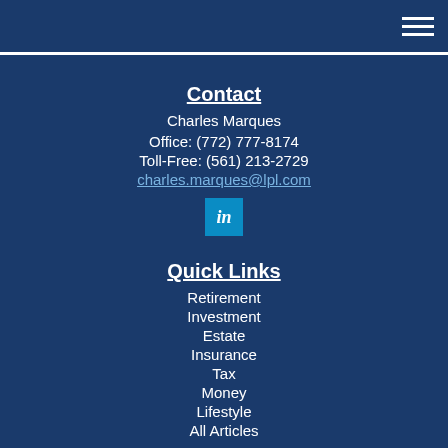Navigation menu icon (hamburger)
Contact
Charles Marques
Office: (772) 777-8174
Toll-Free: (561) 213-2729
charles.marques@lpl.com
[Figure (logo): LinkedIn icon button]
Quick Links
Retirement
Investment
Estate
Insurance
Tax
Money
Lifestyle
All Articles